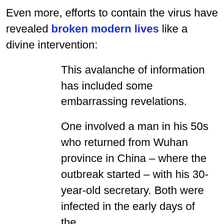Even more, efforts to contain the virus have revealed broken modern lives like a divine intervention:
This avalanche of information has included some embarrassing revelations.
One involved a man in his 50s who returned from Wuhan province in China – where the outbreak started – with his 30-year-old secretary. Both were infected in the early days of the